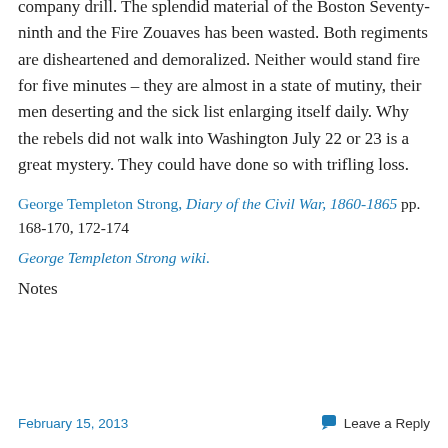company drill. The splendid material of the Boston Seventy-ninth and the Fire Zouaves has been wasted. Both regiments are disheartened and demoralized. Neither would stand fire for five minutes – they are almost in a state of mutiny, their men deserting and the sick list enlarging itself daily. Why the rebels did not walk into Washington July 22 or 23 is a great mystery. They could have done so with trifling loss.
George Templeton Strong, Diary of the Civil War, 1860-1865 pp. 168-170, 172-174
George Templeton Strong wiki.
Notes
February 15, 2013   Leave a Reply